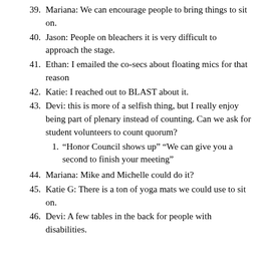39. Mariana: We can encourage people to bring things to sit on.
40. Jason: People on bleachers it is very difficult to approach the stage.
41. Ethan: I emailed the co-secs about floating mics for that reason
42. Katie: I reached out to BLAST about it.
43. Devi: this is more of a selfish thing, but I really enjoy being part of plenary instead of counting. Can we ask for student volunteers to count quorum?
1. “Honor Council shows up” “We can give you a second to finish your meeting”
44. Mariana: Mike and Michelle could do it?
45. Katie G: There is a ton of yoga mats we could use to sit on.
46. Devi: A few tables in the back for people with disabilities.